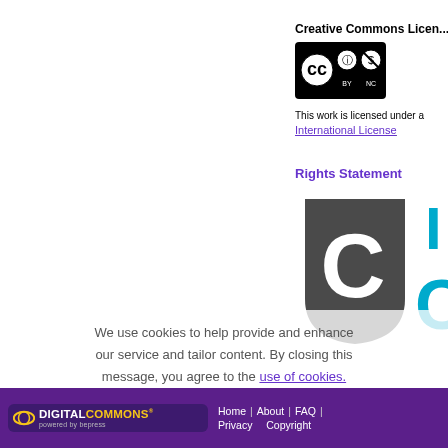Creative Commons License
[Figure (logo): Creative Commons BY-NC license badge showing CC, person, and dollar-sign-with-slash icons]
This work is licensed under a Creative Commons Attribution-NonCommercial 4.0 International License
Rights Statement
[Figure (logo): In Copyright (InC) rights statement logo showing a stylized C in a dark shield shape with teal text partially visible]
We use cookies to help provide and enhance our service and tailor content. By closing this message, you agree to the use of cookies.
Digital Commons powered by bepress | Home | About | FAQ | Privacy | Copyright